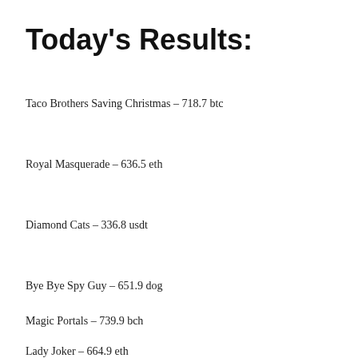Today's Results:
Taco Brothers Saving Christmas – 718.7 btc
Royal Masquerade – 636.5 eth
Diamond Cats – 336.8 usdt
Bye Bye Spy Guy – 651.9 dog
Magic Portals – 739.9 bch
Lady Joker – 664.9 eth